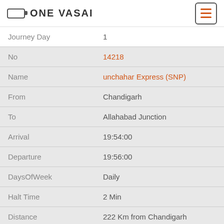ONE VASAI
| Field | Value |
| --- | --- |
| Journey Day | 1 |
| No | 14218 |
| Name | unchahar Express (SNP) |
| From | Chandigarh |
| To | Allahabad Junction |
| Arrival | 19:54:00 |
| Departure | 19:56:00 |
| DaysOfWeek | Daily |
| Halt Time | 2 Min |
| Distance | 222 Km from Chandigarh |
| Journey Day | 1 |
| No | 64461 |